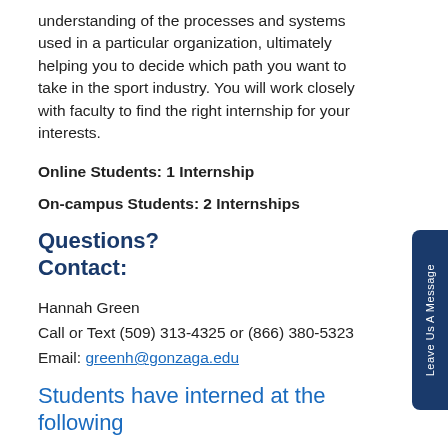understanding of the processes and systems used in a particular organization, ultimately helping you to decide which path you want to take in the sport industry. You will work closely with faculty to find the right internship for your interests.
Online Students: 1 Internship
On-campus Students: 2 Internships
Questions?
Contact:
Hannah Green
Call or Text (509) 313-4325 or (866) 380-5323
Email: greenh@gonzaga.edu
Students have interned at the following organizations: